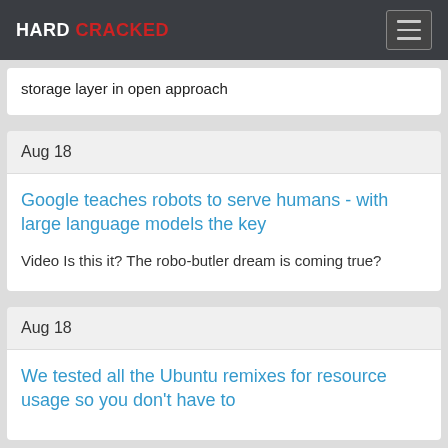HARD CRACKED
storage layer in open approach
Aug 18
Google teaches robots to serve humans - with large language models the key
Video Is this it? The robo-butler dream is coming true?
Aug 18
We tested all the Ubuntu remixes for resource usage so you don't have to